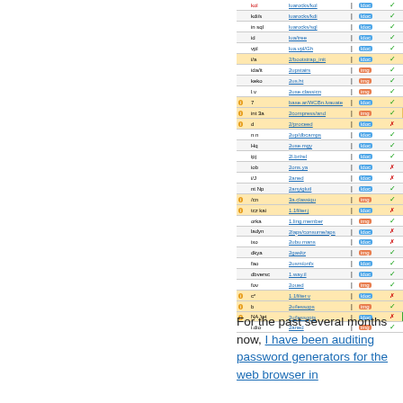[Figure (screenshot): Screenshot of a package/extension table listing showing rows with package names, links, badges (ldoc, img, ok), and status icons. Columns include icon, name, link, separator, tag/badge, and status indicators.]
For the past several months now, I have been auditing password generators for the web browser in